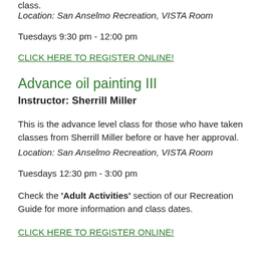class.
Location: San Anselmo Recreation, VISTA Room
Tuesdays 9:30 pm - 12:00 pm
CLICK HERE TO REGISTER ONLINE!
Advance oil painting III
Instructor: Sherrill Miller
This is the advance level class for those who have taken classes from Sherrill Miller before or have her approval.
Location: San Anselmo Recreation, VISTA Room
Tuesdays 12:30 pm - 3:00 pm
Check the 'Adult Activities' section of our Recreation Guide for more information and class dates.
CLICK HERE TO REGISTER ONLINE!